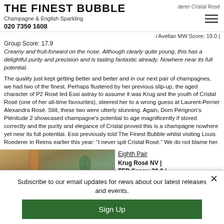THE FINEST BUBBLE | Champagne & English Sparkling | 020 7359 1608
derer Cristal Rosé
i Avellan MW Score: 19.0 |
Group Score: 17.9
Creamy and fruit-forward on the nose. Although clearly quite young, this has a delightful purity and precision and is tasting fantastic already. Nowhere near its full potential.
The quality just kept getting better and better and in our next pair of champagnes, we had two of the finest. Perhaps flustered by her previous slip-up, the aged character of P2 Rosé led Essi astray to assume it was Krug and the youth of Cristal Rosé (one of her all-time favourites), steered her to a wrong guess at Laurent-Perrier Alexandra Rosé. Still, these two were utterly stunning. Again, Dom Pérignon's Plénitude 2 showcased champagne's potential to age magnificently if stored correctly and the purity and elegance of Cristal proved this is a champagne nowhere yet near its full potential. Essi previously told The Finest Bubble whilst visiting Louis Roederer in Reims earlier this year: "I never spit Cristal Rosé." We do not blame her.
[Figure (photo): Interior photo showing copper/warm-toned bar or cellar elements with a plant visible]
Eighth Pair
Krug Rosé NV |
TFB Score: 20.0 |
Essi Avellan MW
Subscribe to our email updates for news about our latest releases and events.
Sign Up
full-bodied and